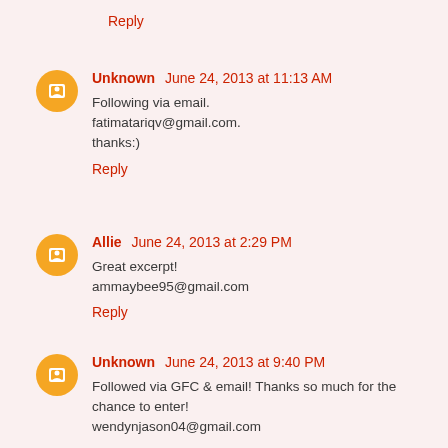Reply
Unknown  June 24, 2013 at 11:13 AM
Following via email.
fatimatariqv@gmail.com.
thanks:)
Reply
Allie  June 24, 2013 at 2:29 PM
Great excerpt!
ammaybee95@gmail.com
Reply
Unknown  June 24, 2013 at 9:40 PM
Followed via GFC & email! Thanks so much for the chance to enter!
wendynjason04@gmail.com